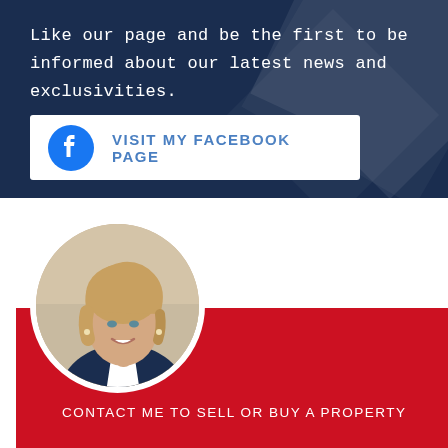Like our page and be the first to be informed about our latest news and exclusivities.
[Figure (other): Facebook button with circle Facebook logo icon and text 'VISIT MY FACEBOOK PAGE' on white background]
[Figure (photo): Circular portrait photo of a smiling blonde woman in a dark blazer]
CONTACT ME TO SELL OR BUY A PROPERTY